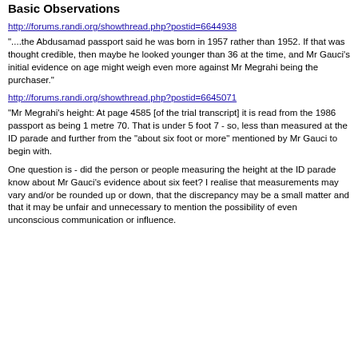Basic Observations
http://forums.randi.org/showthread.php?postid=6644938
"....the Abdusamad passport said he was born in 1957 rather than 1952. If that was thought credible, then maybe he looked younger than 36 at the time, and Mr Gauci's initial evidence on age might weigh even more against Mr Megrahi being the purchaser."
http://forums.randi.org/showthread.php?postid=6645071
"Mr Megrahi's height: At page 4585 [of the trial transcript] it is read from the 1986 passport as being 1 metre 70. That is under 5 foot 7 - so, less than measured at the ID parade and further from the "about six foot or more" mentioned by Mr Gauci to begin with.
One question is - did the person or people measuring the height at the ID parade know about Mr Gauci's evidence about six feet? I realise that measurements may vary and/or be rounded up or down, that the discrepancy may be a small matter and that it may be unfair and unnecessary to mention the possibility of even unconscious communication or influence.